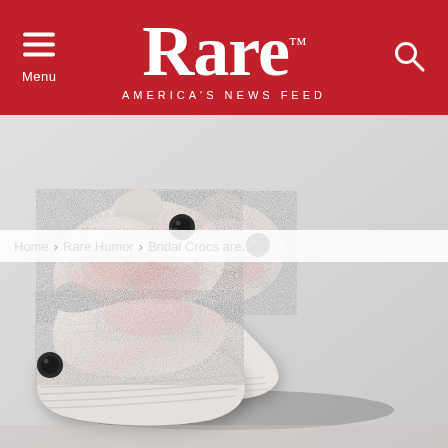Rare™ AMERICA'S NEWS FEED
Home › Rare Humor › Bridal Crocs are…
[Figure (photo): A pair of white fuzzy/fluffy bridal Crocs shoes with pink and white textile covering, black ventilation hole eyelets, and white rubber soles, photographed on a light gray background.]